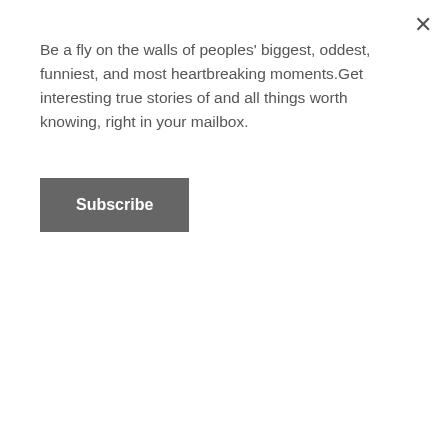Be a fly on the walls of peoples' biggest, oddest, funniest, and most heartbreaking moments.Get interesting true stories of and all things worth knowing, right in your mailbox.
Subscribe
but I'm actually looking forward to going back in the spring and seeing that little jerk again.
Millipede
[rebelmouse-image 18349009 is_animated_gif= dam=1 expand=1]
Worked at an aquarium which had a small terrestrials section where we did handling experiences. Giant millipedes are complete jerks! Working around salt water tanks meant your